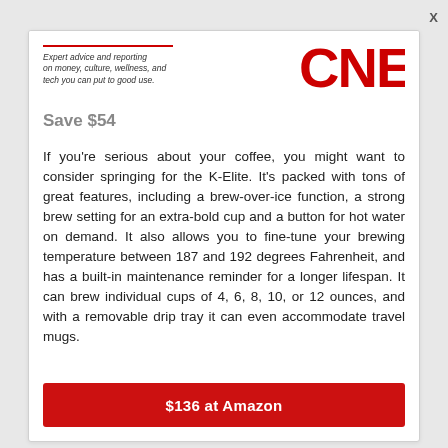[Figure (logo): CNET logo in red with tagline: Expert advice and reporting on money, culture, wellness, and tech you can put to good use.]
Save $54
If you're serious about your coffee, you might want to consider springing for the K-Elite. It's packed with tons of great features, including a brew-over-ice function, a strong brew setting for an extra-bold cup and a button for hot water on demand. It also allows you to fine-tune your brewing temperature between 187 and 192 degrees Fahrenheit, and has a built-in maintenance reminder for a longer lifespan. It can brew individual cups of 4, 6, 8, 10, or 12 ounces, and with a removable drip tray it can even accommodate travel mugs.
$136 at Amazon